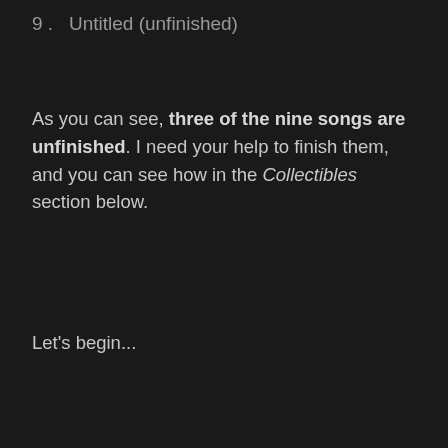9 .   Untitled (unfinished)
As you can see, three of the nine songs are unfinished. I need your help to finish them, and you can see how in the Collectibles section below.
Let's begin...